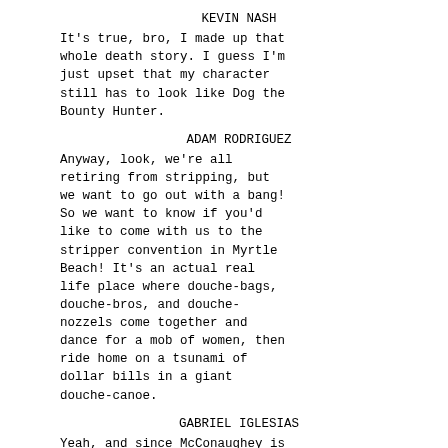KEVIN NASH
It's true, bro, I made up that whole death story. I guess I'm just upset that my character still has to look like Dog the Bounty Hunter.
ADAM RODRIGUEZ
Anyway, look, we're all retiring from stripping, but we want to go out with a bang! So we want to know if you'd like to come with us to the stripper convention in Myrtle Beach! It's an actual real life place where douche-bags, douche-bros, and douche-nozzels come together and dance for a mob of women, then ride home on a tsunami of dollar bills in a giant douche-canoe.
GABRIEL IGLESIAS
Yeah, and since McConaughey is too Oscar fancy for us now, I'm going to emcee! Me, the guy who fueled all of your drug habits and took ten thousand bucks from you! I